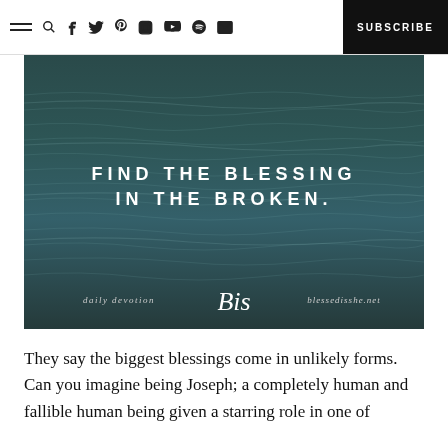SUBSCRIBE
[Figure (illustration): Ocean waves photograph with text overlay: 'FIND THE BLESSING IN THE BROKEN.' and branding text 'daily devotion bis blessedisshe.net']
They say the biggest blessings come in unlikely forms. Can you imagine being Joseph; a completely human and fallible human being given a starring role in one of